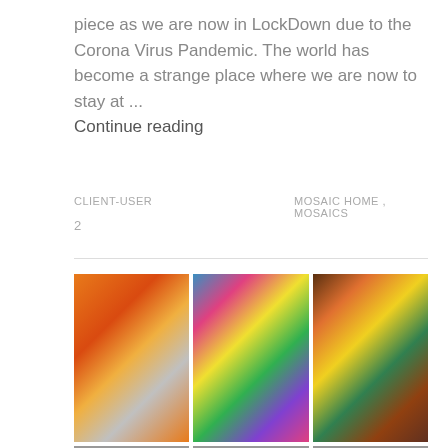piece as we are now in LockDown due to the Corona Virus Pandemic. The world has become a strange place where we are now to stay at ...
Continue reading
CLIENT-USER
MOSAIC HOME , MOSAICS
2
[Figure (photo): Three side-by-side photos of a mosaic artist: left photo shows woman with large circular mosaic piece with orange and red patterns; center photo shows woman smiling in front of colorful mosaic mural; right photo shows woman standing next to large owl-shaped mosaic sculpture.]
[Figure (photo): Partial view of additional mosaic photos at bottom edge of page.]